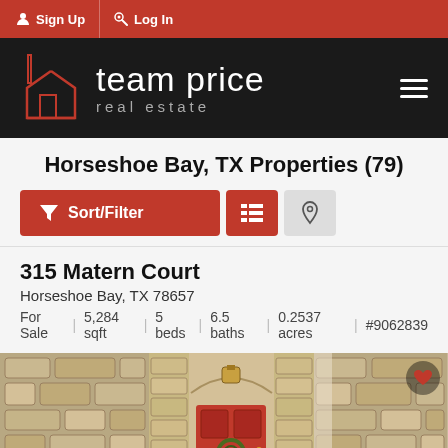Sign Up | Log In
[Figure (logo): Team Price Real Estate logo on dark background with hamburger menu]
Horseshoe Bay, TX Properties (79)
Sort/Filter | list view | map view buttons
315 Matern Court
Horseshoe Bay, TX 78657
For Sale | 5,284 sqft | 5 beds | 6.5 baths | 0.2537 acres | #9062839
[Figure (photo): Stone facade home entrance with red door and wreath, shown in three photo panels]